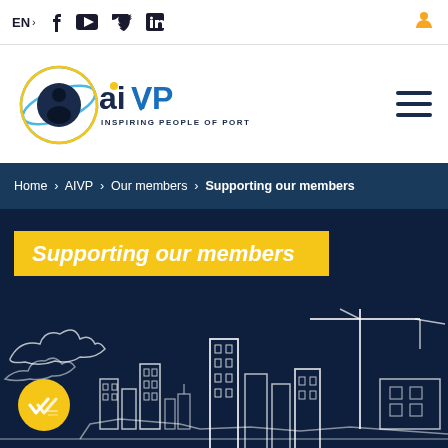EN > f (YouTube) (Twitter) in
[Figure (logo): AIVP logo with orbital globe icon and tagline 'Inspiring People of Port Cities']
Home > AIVP > Our members > Supporting our members
Supporting our members
[Figure (illustration): White line art illustration of a port city skyline with buildings, cranes, clouds on dark navy background. Yellow circular badge with checkmark in lower left.]